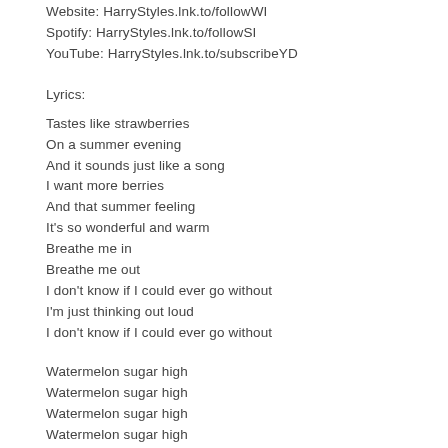Website: HarryStyles.lnk.to/followWI
Spotify: HarryStyles.lnk.to/followSI
YouTube: HarryStyles.lnk.to/subscribeYD
Lyrics:
Tastes like strawberries
On a summer evening
And it sounds just like a song
I want more berries
And that summer feeling
It's so wonderful and warm
Breathe me in
Breathe me out
I don't know if I could ever go without
I'm just thinking out loud
I don't know if I could ever go without
Watermelon sugar high
Watermelon sugar high
Watermelon sugar high
Watermelon sugar high
Watermelon sugar
Strawberries
On a summer evening
Baby, you're the end of June
I want your belly
And that summer feeling
Getting washed away in you
Breathe me in
Breathe me out
I don't know if I could ever go without